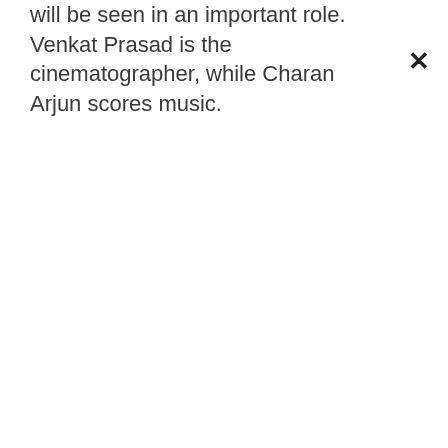will be seen in an important role. Venkat Prasad is the cinematographer, while Charan Arjun scores music.
×